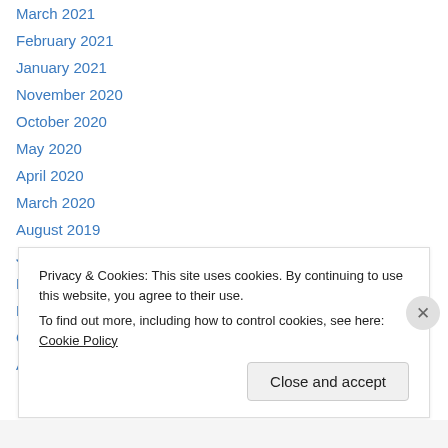March 2021
February 2021
January 2021
November 2020
October 2020
May 2020
April 2020
March 2020
August 2019
July 2019
May 2019
November 2018
October 2018
April 2018
Privacy & Cookies: This site uses cookies. By continuing to use this website, you agree to their use.
To find out more, including how to control cookies, see here: Cookie Policy
Close and accept